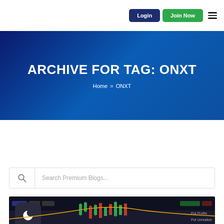Login | Join Now
ARCHIVE FOR TAG: ONXT
Home » ONXT
Search Premium Blogs...
[Figure (screenshot): Stock trading chart in dark mode showing candlestick chart with a moon/dark-mode icon in the upper left corner]